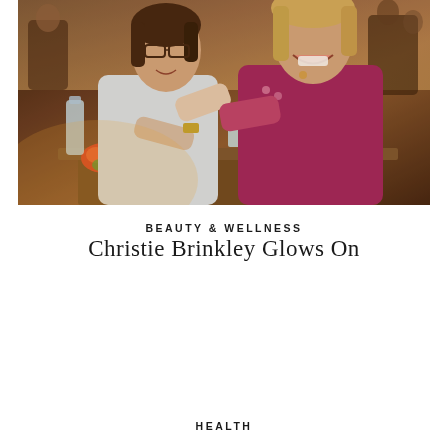[Figure (photo): Two women smiling and clinking glasses at an outdoor table. One woman wears a white shirt, the other a magenta/purple knit sweater. Flowers and water bottles visible on table. Warm evening light.]
BEAUTY & WELLNESS
Christie Brinkley Glows On
HEALTH